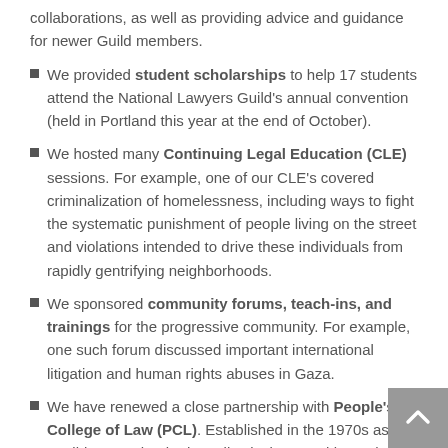collaborations, as well as providing advice and guidance for newer Guild members.
We provided student scholarships to help 17 students attend the National Lawyers Guild's annual convention (held in Portland this year at the end of October).
We hosted many Continuing Legal Education (CLE) sessions. For example, one of our CLE's covered criminalization of homelessness, including ways to fight the systematic punishment of people living on the street and violations intended to drive these individuals from rapidly gentrifying neighborhoods.
We sponsored community forums, teach-ins, and trainings for the progressive community. For example, one such forum discussed important international litigation and human rights abuses in Gaza.
We have renewed a close partnership with People's College of Law (PCL). Established in the 1970s as the "Guild Law School," the collectively-owned law school is founded on principles of people's lawyering. PCL